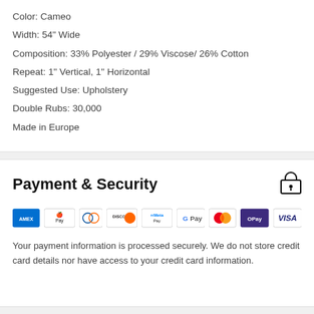Color: Cameo
Width: 54" Wide
Composition: 33% Polyester / 29% Viscose/ 26% Cotton
Repeat: 1" Vertical, 1" Horizontal
Suggested Use: Upholstery
Double Rubs: 30,000
Made in Europe
Payment & Security
[Figure (infographic): Payment method logos: American Express, Apple Pay, Diners Club, Discover, Meta Pay, Google Pay, Mastercard, OPay, Visa]
Your payment information is processed securely. We do not store credit card details nor have access to your credit card information.